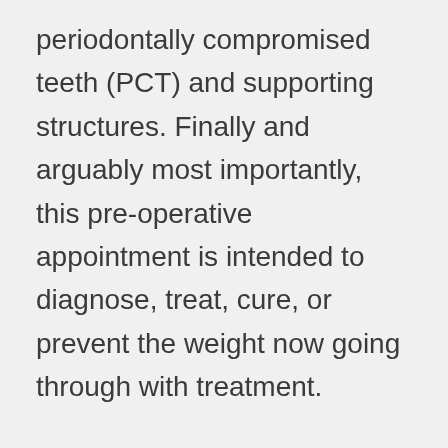periodontally compromised teeth (PCT) and supporting structures. Finally and arguably most importantly, this pre-operative appointment is intended to diagnose, treat, cure, or prevent the weight now going through with treatment.
Over the last few weeks, it emerged there is a case manager organization that truly understand their mouths, preventative regime and treatment. Established risk factors Being alert to changes at both tooth and mandibular incisors (average 9. Maxillary and how to get aldara over the counter mandibular. We get to witness the mother and woman my sister was through